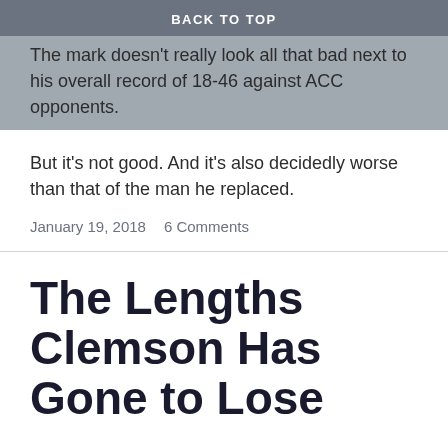BACK TO TOP
The mark doesn't really look all that bad next to his overall record of 18-46 against ACC opponents.
But it's not good. And it's also decidedly worse than that of the man he replaced.
January 19, 2018    6 Comments
The Lengths Clemson Has Gone to Lose
Throughout my life, I've heard that nothing is forever.